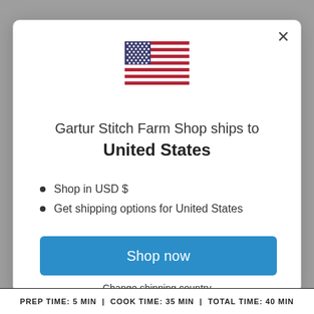[Figure (illustration): US flag emoji/icon centered in modal]
Gartur Stitch Farm Shop ships to United States
Shop in USD $
Get shipping options for United States
Shop now
Change shipping country
PREP TIME: 5 MIN  |  COOK TIME: 35 MIN  |  TOTAL TIME: 40 MIN